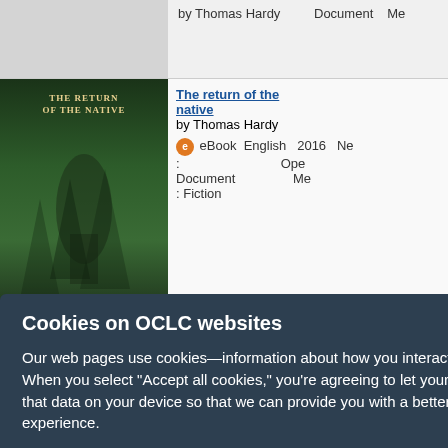by Thomas Hardy | Document | Me
[Figure (illustration): Book cover of The Return of the Native by Thomas Hardy, dark green with a figure silhouette]
The return of the native by Thomas Hardy
eBook : Document : Fiction | English | 2016 | New | Ope | Me
español | Français | s | ???????? | ??? | ???
| My Lists | My
Cookies on OCLC websites
Our web pages use cookies—information about how you interact with the site. When you select "Accept all cookies," you're agreeing to let your browser store that data on your device so that we can provide you with a better, more relevant experience.